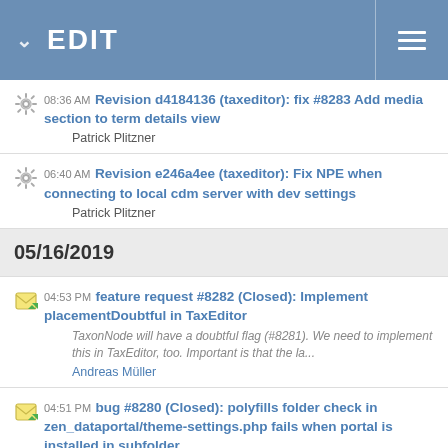EDIT
08:36 AM Revision d4184136 (taxeditor): fix #8283 Add media section to term details view — Patrick Plitzner
06:40 AM Revision e246a4ee (taxeditor): Fix NPE when connecting to local cdm server with dev settings — Patrick Plitzner
05/16/2019
04:53 PM feature request #8282 (Closed): Implement placementDoubtful in TaxEditor — TaxonNode will have a doubtful flag (#8281). We need to implement this in TaxEditor, too. Important is that the la... — Andreas Müller
04:51 PM bug #8280 (Closed): polyfills folder check in zen_dataportal/theme-settings.php fails when portal is installed in subfolder — Andreas Kohlbecker